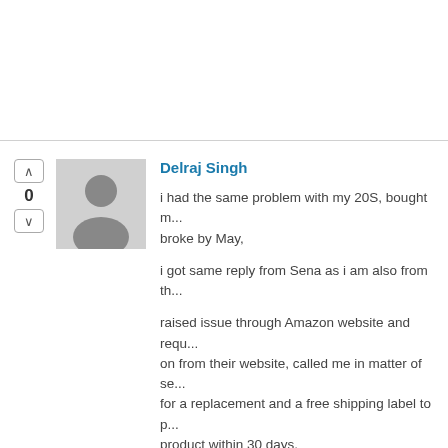Delraj Singh
i had the same problem with my 20S, bought m... broke by May,
i got same reply from Sena as i am also from th...
raised issue through Amazon website and requ... on from their website, called me in matter of se... for a replacement and a free shipping label to p... product within 30 days.
Got my replacement week following week and d... its base now.
i would raise it with Amazon because it is still w...